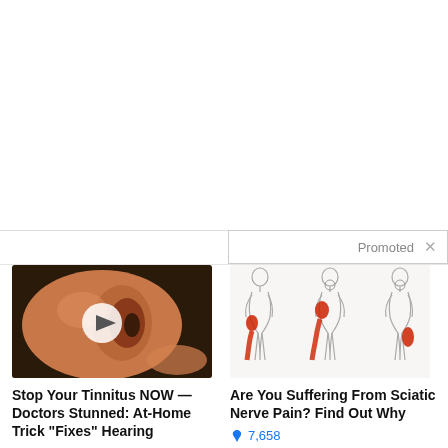[Figure (other): Blank white space at top of page, approximately half the page]
Promoted ×
[Figure (photo): Close-up photo of a human ear with a video play button overlay in the center]
Stop Your Tinnitus NOW — Doctors Stunned: At-Home Trick "Fixes" Hearing
🔥 444
[Figure (illustration): Medical illustration showing three human body outlines with red highlighted areas indicating sciatic nerve pain locations along the leg and lower back]
Are You Suffering From Sciatic Nerve Pain? Find Out Why
🔥 7,658